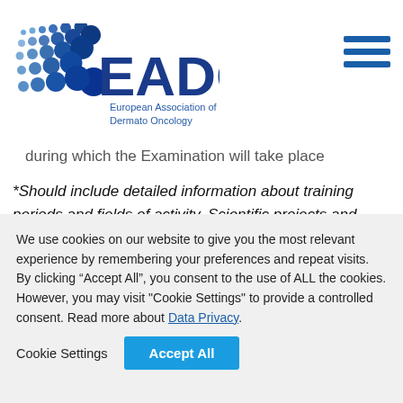[Figure (logo): EADO logo with blue dot pattern and text 'EADO European Association of Dermato Oncology']
during which the Examination will take place
*Should include detailed information about training periods and fields of activity. Scientific projects and special training courses in the field of dermato-oncology should be described.
Applications will be accepted until December 1st each
We use cookies on our website to give you the most relevant experience by remembering your preferences and repeat visits. By clicking “Accept All”, you consent to the use of ALL the cookies. However, you may visit "Cookie Settings" to provide a controlled consent. Read more about Data Privacy.